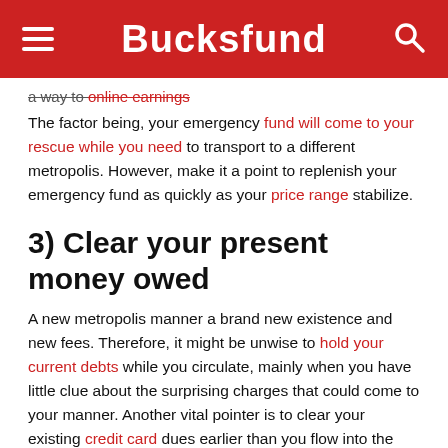Bucksfund
a way to online earnings
The factor being, your emergency fund will come to your rescue while you need to transport to a different metropolis. However, make it a point to replenish your emergency fund as quickly as your price range stabilize.
3) Clear your present money owed
A new metropolis manner a brand new existence and new fees. Therefore, it might be unwise to hold your current debts while you circulate, mainly when you have little clue about the surprising charges that could come to your manner. Another vital pointer is to clear your existing credit card dues earlier than you flow into the brand new metropolis. Your credit card may be of big assist in buying home stuff and even for each day commutes as you begin a brand new inning of your existence. If you want to shop for new fixtures, your credit score card can also help you rework the big-ticket purchases to month-to-month chunk-size installments.